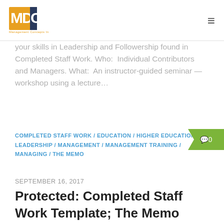MDC — Management Concepts Inc. [logo] [hamburger menu]
your skills in Leadership and Followership found in Completed Staff Work. Who:  Individual Contributors and Managers. What:  An instructor-guided seminar — workshop using a lecture…
COMPLETED STAFF WORK / EDUCATION / HIGHER EDUCATION / LEADERSHIP / MANAGEMENT / MANAGEMENT TRAINING / MANAGING / THE MEMO
SEPTEMBER 16, 2017
Protected: Completed Staff Work Template; The Memo Appendix
There is no excerpt because this is a protected post.